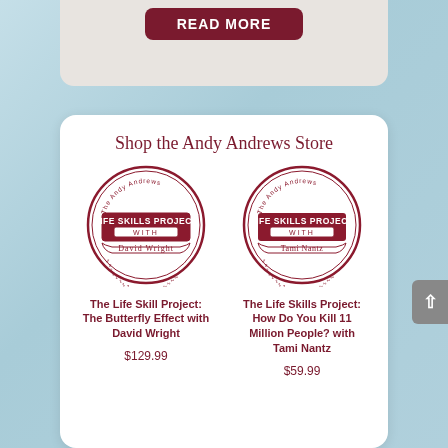[Figure (screenshot): Read More button on a light beige card at the top of the page]
Shop the Andy Andrews Store
[Figure (logo): Life Skills Project with David Wright circular badge logo in dark red]
The Life Skill Project: The Butterfly Effect with David Wright
$129.99
[Figure (logo): Life Skills Project with Tami Nantz circular badge logo in dark red]
The Life Skills Project: How Do You Kill 11 Million People? with Tami Nantz
$59.99